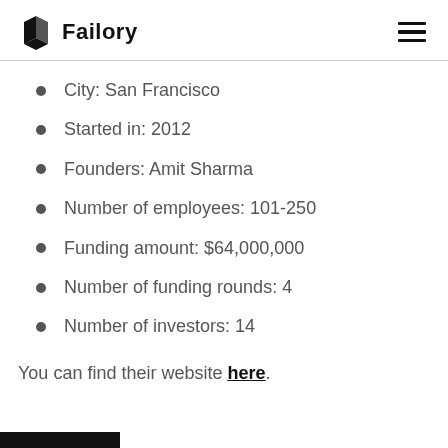Failory
City: San Francisco
Started in: 2012
Founders: Amit Sharma
Number of employees: 101-250
Funding amount: $64,000,000
Number of funding rounds: 4
Number of investors: 14
You can find their website here.